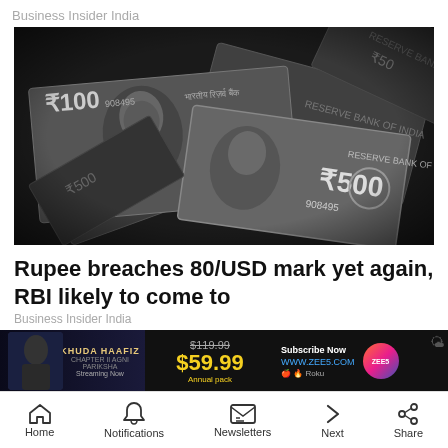Business Insider India
[Figure (photo): Pile of Indian Rupee banknotes showing ₹500 and ₹900 notes with Reserve Bank of India text visible, in black and white]
Rupee breaches 80/USD mark yet again, RBI likely to come to
Business Insider India
[Figure (other): Advertisement banner for ZEE5 showing Khuda Haafiz streaming now, with pricing $119.99 crossed out, $59.99 Annual pack, Subscribe Now at www.zee5.com]
[Figure (other): Bottom navigation bar with Home, Notifications, Newsletters, Next, Share icons]